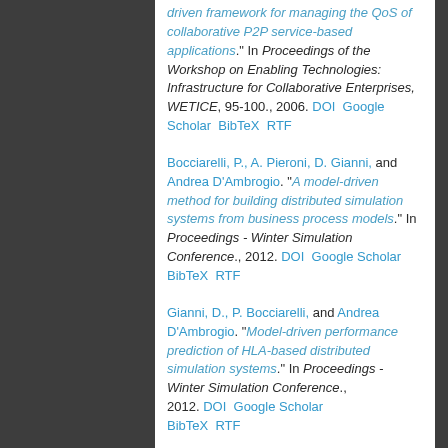driven framework for managing the QoS of collaborative P2P service-based applications." In Proceedings of the Workshop on Enabling Technologies: Infrastructure for Collaborative Enterprises, WETICE, 95-100., 2006. DOI Google Scholar BibTeX RTF
Bocciarelli, P., A. Pieroni, D. Gianni, and Andrea D'Ambrogio. "A model-driven method for building distributed simulation systems from business process models." In Proceedings - Winter Simulation Conference., 2012. DOI Google Scholar BibTeX RTF
Gianni, D., P. Bocciarelli, and Andrea D'Ambrogio. "Model-driven performance prediction of HLA-based distributed simulation systems." In Proceedings - Winter Simulation Conference., 2012. DOI Google Scholar BibTeX RTF
D'Ambrogio, Andrea. "A model-driven WSDL extension for describing the QoS of web services." In Proceedings...